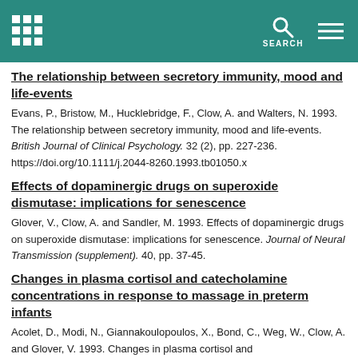SEARCH
The relationship between secretory immunity, mood and life-events
Evans, P., Bristow, M., Hucklebridge, F., Clow, A. and Walters, N. 1993. The relationship between secretory immunity, mood and life-events. British Journal of Clinical Psychology. 32 (2), pp. 227-236. https://doi.org/10.1111/j.2044-8260.1993.tb01050.x
Effects of dopaminergic drugs on superoxide dismutase: implications for senescence
Glover, V., Clow, A. and Sandler, M. 1993. Effects of dopaminergic drugs on superoxide dismutase: implications for senescence. Journal of Neural Transmission (supplement). 40, pp. 37-45.
Changes in plasma cortisol and catecholamine concentrations in response to massage in preterm infants
Acolet, D., Modi, N., Giannakoulopoulos, X., Bond, C., Weg, W., Clow, A. and Glover, V. 1993. Changes in plasma cortisol and